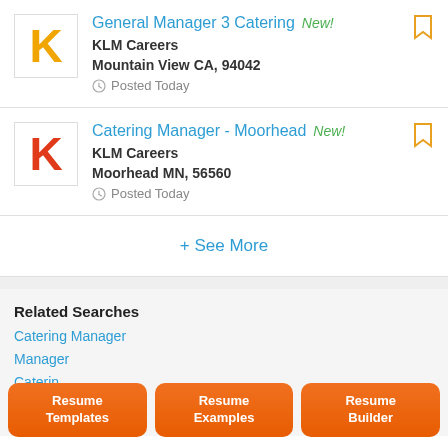General Manager 3 Catering New! KLM Careers Mountain View CA, 94042 Posted Today
Catering Manager - Moorhead New! KLM Careers Moorhead MN, 56560 Posted Today
+ See More
Related Searches
Catering Manager
Manager
Caterin,
Team M
Hostess